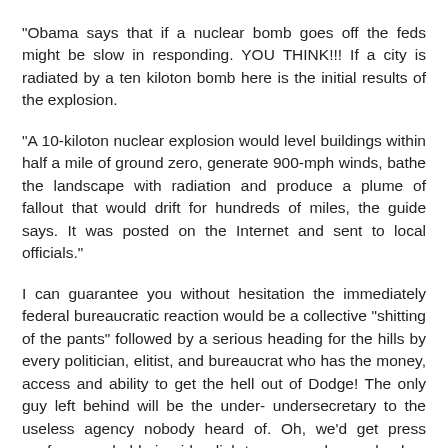"Obama says that if a nuclear bomb goes off the feds might be slow in responding. YOU THINK!!! If a city is radiated by a ten kiloton bomb here is the initial results of the explosion.
"A 10-kiloton nuclear explosion would level buildings within half a mile of ground zero, generate 900-mph winds, bathe the landscape with radiation and produce a plume of fallout that would drift for hundreds of miles, the guide says. It was posted on the Internet and sent to local officials."
I can guarantee you without hesitation the immediately federal bureaucratic reaction would be a collective “shitting of the pants” followed by a serious heading for the hills by every politician, elitist, and bureaucrat who has the money, access and ability to get the hell out of Dodge! The only guy left behind will be the under- undersecretary to the useless agency nobody heard of. Oh, we’d get press conferences held via video link to some unknown bunker. Maureen Dowd will be screaming for someone to come and get her from her high rise penthouse as she gathers up